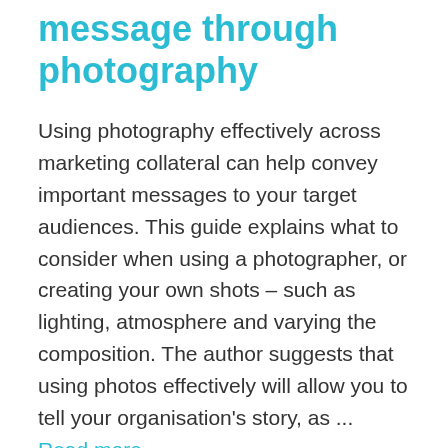message through photography
Using photography effectively across marketing collateral can help convey important messages to your target audiences. This guide explains what to consider when using a photographer, or creating your own shots – such as lighting, atmosphere and varying the composition. The author suggests that using photos effectively will allow you to tell your organisation's story, as ...
Read more